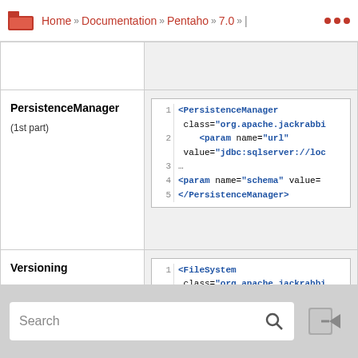Home » Documentation » Pentaho » 7.0 » ...
| Element | Code |
| --- | --- |
|  |  |
| PersistenceManager
(1st part) | <PersistenceManager class="org.apache.jackrabbi...
    <param name="url" value="jdbc:sqlserver://loc...
...
<param name="schema" value=...
</PersistenceManager> |
| Versioning | <FileSystem class="org.apache.jackrabbi...
    <param name="driver" value="com.microsoft.sqlser...
    <param name="url" value="jdbc:sqlserver://loc...
...
<param name="schema" value=...
</FileSystem> |
Search